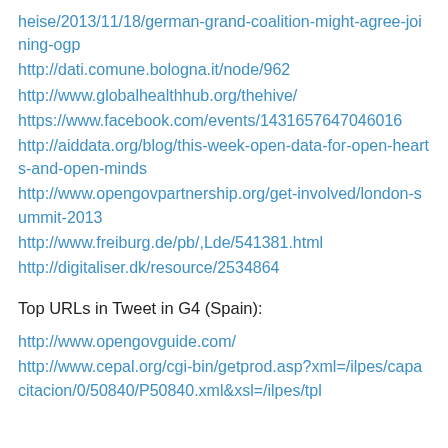heise/2013/11/18/german-grand-coalition-might-agree-joining-ogp
http://dati.comune.bologna.it/node/962
http://www.globalhealthhub.org/thehive/
https://www.facebook.com/events/1431657647046016
http://aiddata.org/blog/this-week-open-data-for-open-hearts-and-open-minds
http://www.opengovpartnership.org/get-involved/london-summit-2013
http://www.freiburg.de/pb/,Lde/541381.html
http://digitaliser.dk/resource/2534864
Top URLs in Tweet in G4 (Spain):
http://www.opengovguide.com/
http://www.cepal.org/cgi-bin/getprod.asp?xml=/ilpes/capacitacion/0/50840/P50840.xml&xsl=/ilpes/tpl